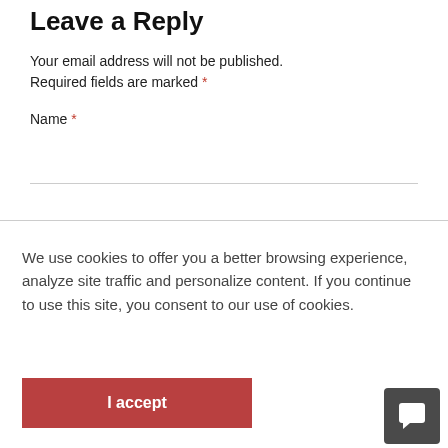Leave a Reply
Your email address will not be published. Required fields are marked *
Name *
We use cookies to offer you a better browsing experience, analyze site traffic and personalize content. If you continue to use this site, you consent to our use of cookies.
I accept